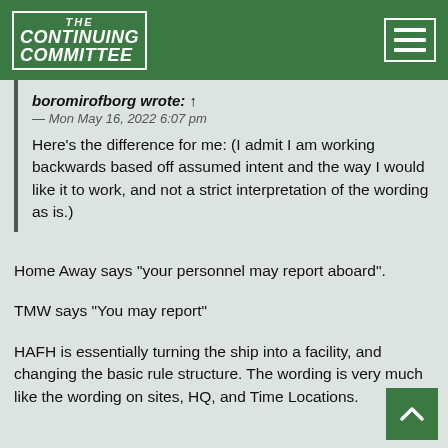THE CONTINUING COMMITTEE
boromirofborg wrote: ↑
— Mon May 16, 2022 6:07 pm
Here's the difference for me: (I admit I am working backwards based off assumed intent and the way I would like it to work, and not a strict interpretation of the wording as is.)
Home Away says "your personnel may report aboard".
TMW says "You may report"
HAFH is essentially turning the ship into a facility, and changing the basic rule structure. The wording is very much like the wording on sites, HQ, and Time Locations.